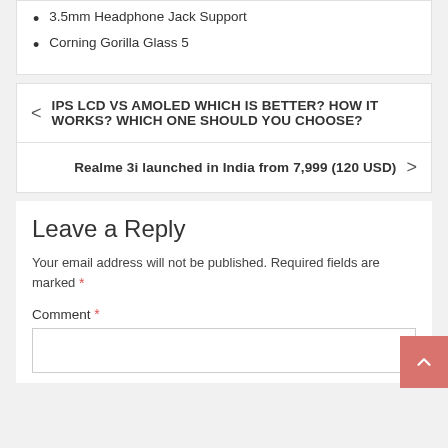3.5mm Headphone Jack Support
Corning Gorilla Glass 5
< IPS LCD VS AMOLED WHICH IS BETTER? HOW IT WORKS? WHICH ONE SHOULD YOU CHOOSE?
Realme 3i launched in India from 7,999 (120 USD) >
Leave a Reply
Your email address will not be published. Required fields are marked *
Comment *